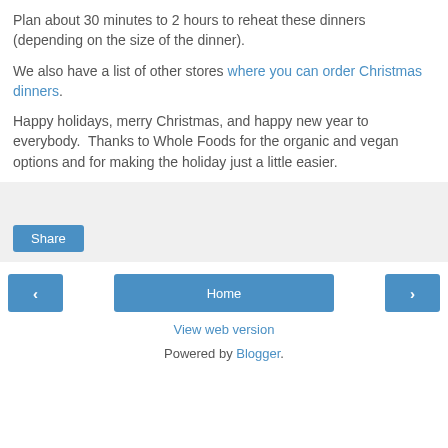Plan about 30 minutes to 2 hours to reheat these dinners (depending on the size of the dinner).
We also have a list of other stores where you can order Christmas dinners.
Happy holidays, merry Christmas, and happy new year to everybody.  Thanks to Whole Foods for the organic and vegan options and for making the holiday just a little easier.
[Figure (other): Share button area with light gray background]
[Figure (other): Navigation bar with left arrow, Home button, and right arrow buttons]
View web version
Powered by Blogger.